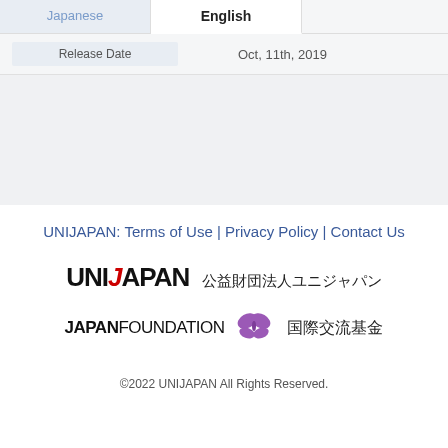| Japanese | English |
| --- | --- |
| Release Date | Oct, 11th, 2019 |
UNIJAPAN: Terms of Use | Privacy Policy | Contact Us
[Figure (logo): UNIJAPAN logo with Japanese text 公益財団法人ユニジャパン]
[Figure (logo): JAPAN FOUNDATION logo with butterfly icon and Japanese text 国際交流基金]
©2022 UNIJAPAN All Rights Reserved.